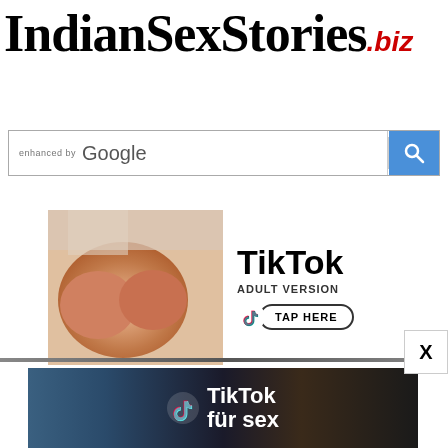IndianSexStories.biz
[Figure (screenshot): Google search bar with 'enhanced by Google' text and search button]
[Figure (infographic): TikTok Adult Version advertisement banner with TAP HERE button]
[Figure (infographic): TikTok für sex advertisement banner]